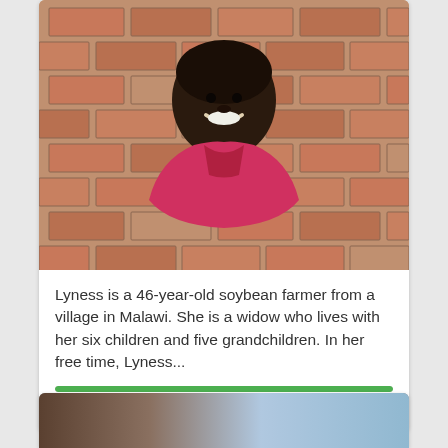[Figure (photo): A woman standing in front of a brick wall, smiling, wearing a pink shirt. She appears to be in her 40s.]
Lyness is a 46-year-old soybean farmer from a village in Malawi. She is a widow who lives with her six children and five grandchildren. In her free time, Lyness...
$327 raised
✓Fully funded
[Figure (photo): Partial view of a second fundraising card at the bottom of the page.]